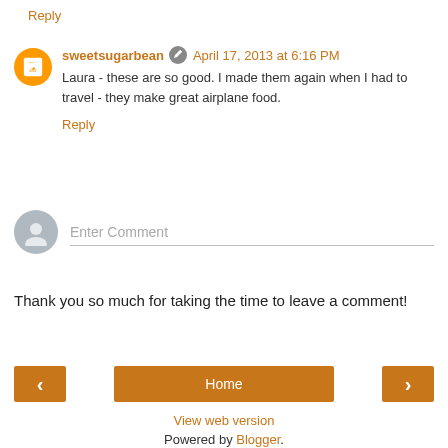Reply
sweetsugarbean  April 17, 2013 at 6:16 PM
Laura - these are so good. I made them again when I had to travel - they make great airplane food.
Reply
Enter Comment
Thank you so much for taking the time to leave a comment!
Home
View web version
Powered by Blogger.